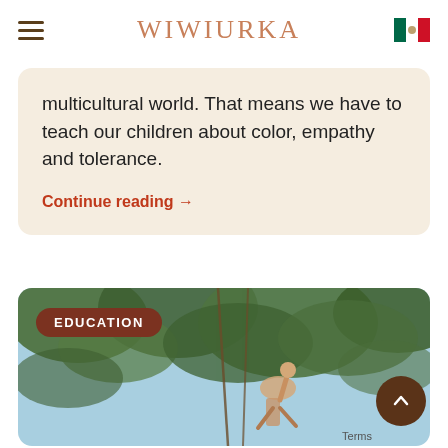WIWIURKA
multicultural world. That means we have to teach our children about color, empathy and tolerance.
Continue reading →
[Figure (photo): Child climbing ropes in trees against a blue sky, with an EDUCATION badge overlay]
EDUCATION